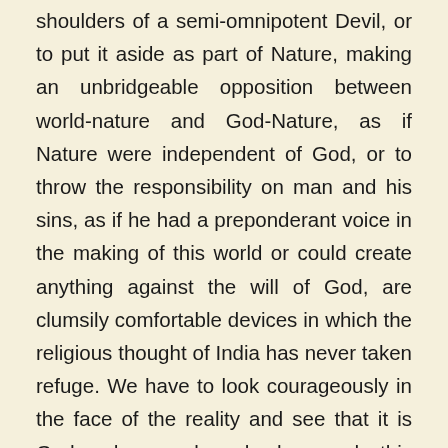shoulders of a semi-omnipotent Devil, or to put it aside as part of Nature, making an unbridgeable opposition between world-nature and God-Nature, as if Nature were independent of God, or to throw the responsibility on man and his sins, as if he had a preponderant voice in the making of this world or could create anything against the will of God, are clumsily comfortable devices in which the religious thought of India has never taken refuge. We have to look courageously in the face of the reality and see that it is God and none else who has made this world in his being and that so he has made it. We have to see that Nature devouring her children, Time eating up the lives of creatures, Death universal and